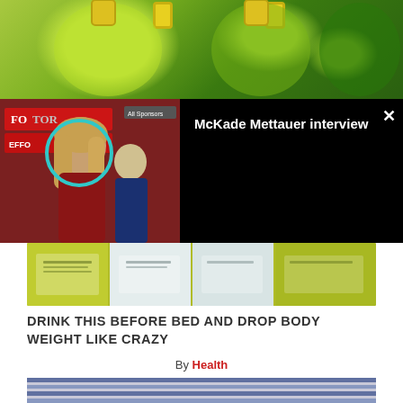[Figure (photo): Green beverage bottles with yellow caps, top image]
[Figure (screenshot): Video overlay popup showing McKade Mettauer interview with photo thumbnail of woman with cyan circle highlight on face, dark background, close X button]
[Figure (photo): Row of green and clear bottles on shelf, middle image]
DRINK THIS BEFORE BED AND DROP BODY WEIGHT LIKE CRAZY
By Health
[Figure (photo): Person with arms crossed wearing blue and white striped shirt, partial view showing torso and arms]